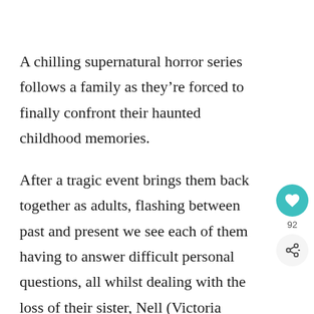A chilling supernatural horror series follows a family as they're forced to finally confront their haunted childhood memories.
After a tragic event brings them back together as adults, flashing between past and present we see each of them having to answer difficult personal questions, all whilst dealing with the loss of their sister, Nell (Victoria Pedretti).